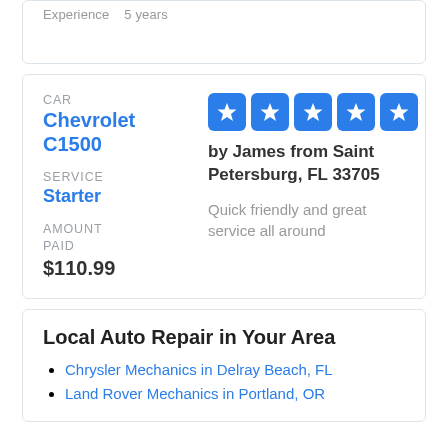Experience   5 years
CAR
Chevrolet C1500
SERVICE
Starter
AMOUNT PAID
$110.99
[Figure (other): Five blue star rating boxes with white star icons]
by James from Saint Petersburg, FL 33705
Quick friendly and great service all around
Local Auto Repair in Your Area
Chrysler Mechanics in Delray Beach, FL
Land Rover Mechanics in Portland, OR